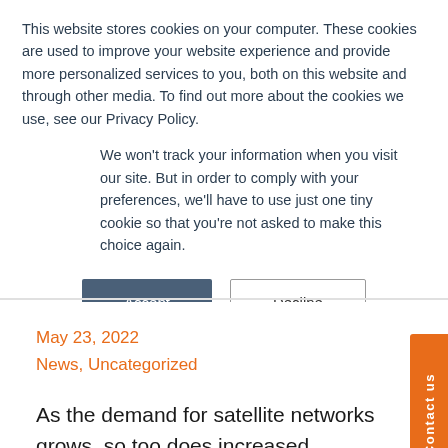This website stores cookies on your computer. These cookies are used to improve your website experience and provide more personalized services to you, both on this website and through other media. To find out more about the cookies we use, see our Privacy Policy.
We won't track your information when you visit our site. But in order to comply with your preferences, we'll have to use just one tiny cookie so that you're not asked to make this choice again.
Accept | Decline
May 23, 2022
News, Uncategorized
As the demand for satellite networks grows, so too does increased interference. This risk is further amplified if the network isn't planned, coordinated and executed properly. Satellite operators face different